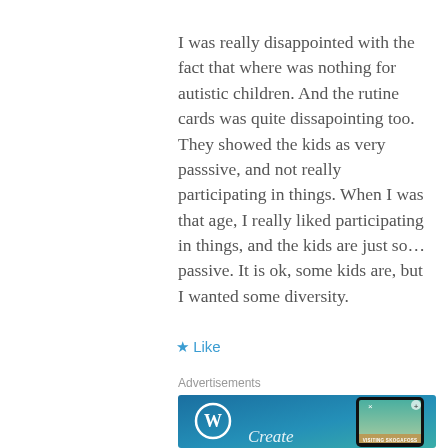I was really disappointed with the fact that where was nothing for autistic children. And the rutine cards was quite dissapointing too. They showed the kids as very passsive, and not really participating in things. When I was that age, I really liked participating in things, and the kids are just so... passive. It is ok, some kids are, but I wanted some diversity.
★ Like
Advertisements
[Figure (other): WordPress advertisement banner with blue-green gradient background, WordPress logo (W in circle) on the left, a smartphone mockup on the right showing a travel image with 'VISITING SKOGAFOSS' label, and 'Create' text in italic at the bottom left.]